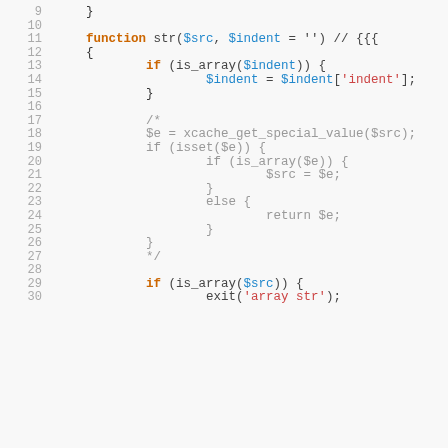Code listing lines 9-30, PHP source code showing a function str($src, $indent) with conditional logic and commented-out xcache block